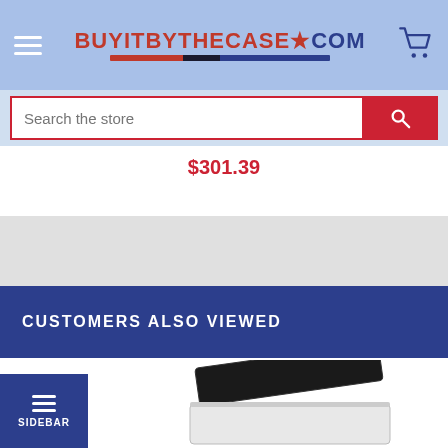[Figure (screenshot): BuyItByTheCase.com website header with hamburger menu, logo, and cart icon on a light blue background]
[Figure (screenshot): Search bar with text input 'Search the store' and red search button]
$301.39
CUSTOMERS ALSO VIEWED
[Figure (photo): Product image showing a black plastic case/container with lid open, white/silver body]